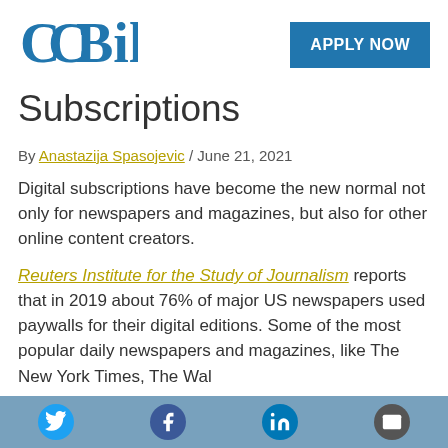[Figure (logo): CCBill logo in blue]
APPLY NOW
Subscriptions
By Anastazija Spasojevic / June 21, 2021
Digital subscriptions have become the new normal not only for newspapers and magazines, but also for other online content creators.
Reuters Institute for the Study of Journalism reports that in 2019 about 76% of major US newspapers used paywalls for their digital editions. Some of the most popular daily newspapers and magazines, like The New York Times, The Wall Street Journal, and The Chicago Tribune
[Figure (infographic): Social share bar with Twitter, Facebook, LinkedIn, and Email icons at bottom of page]